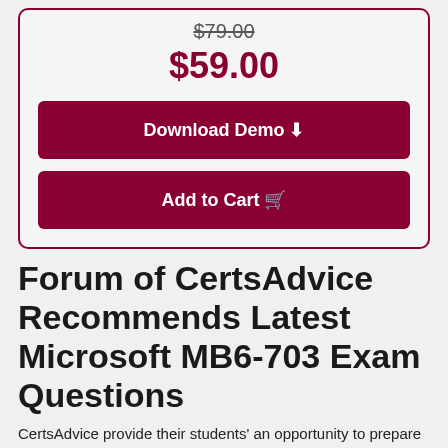$79.00
$59.00
Download Demo
Add to Cart
Forum of CertsAdvice Recommends Latest Microsoft MB6-703 Exam Questions
CertsAdvice provide their students' an opportunity to prepare Microsoft MB6-703 through real PDF exam questions and answers